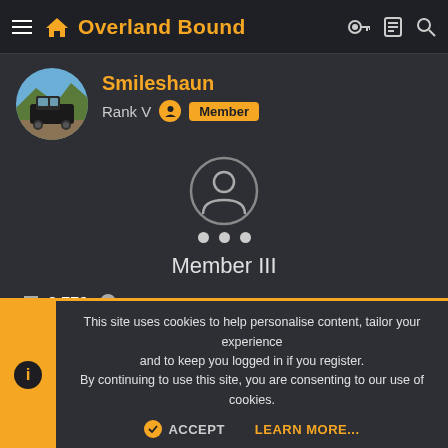Overland Bound
Smileshaun
Rank V Member
[Figure (illustration): Person icon with three dots below representing member profile graphic]
Member III
2,779  Happy Valley, OR, USA  First Name  Shaun
Last Name  Hoffman  Member #  4799
Feb 25, 2022  #121
This site uses cookies to help personalise content, tailor your experience and to keep you logged in if you register.
By continuing to use this site, you are consenting to our use of cookies.
ACCEPT  LEARN MORE...